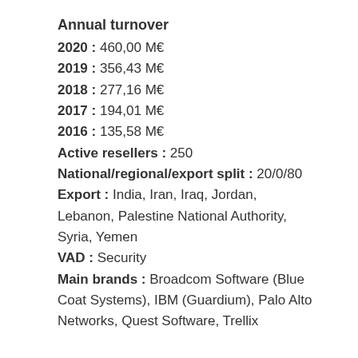Annual turnover
2020 : 460,00 M€
2019 : 356,43 M€
2018 : 277,16 M€
2017 : 194,01 M€
2016 : 135,58 M€
Active resellers : 250
National/regional/export split : 20/0/80
Export : India, Iran, Iraq, Jordan, Lebanon, Palestine National Authority, Syria, Yemen
VAD : Security
Main brands : Broadcom Software (Blue Coat Systems), IBM (Guardium), Palo Alto Networks, Quest Software, Trellix